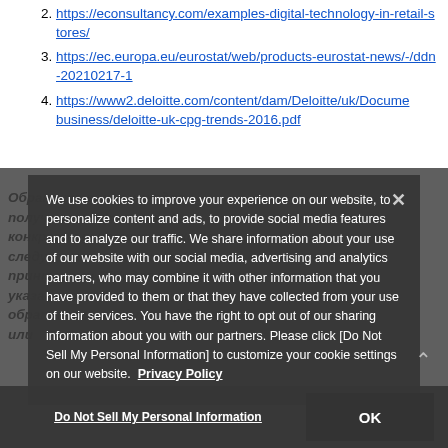2. https://econsultancy.com/examples-digital-technology-in-retail-stores/
3. https://ec.europa.eu/eurostat/web/products-eurostat-news/-/ddn-20210217-1
4. https://www2.deloitte.com/content/dam/Deloitte/uk/Documents/consumer-business/deloitte-uk-cpg-trends-2016.pdf
Обратите внимание: для получения информации о конкретных носителях, которые следует использовать с принтерами OKI, для приложений, указанных на этой странице, обратитесь к местному дилеру или...
We use cookies to improve your experience on our website, to personalize content and ads, to provide social media features and to analyze our traffic. We share information about your use of our website with our social media, advertising and analytics partners, who may combine it with other information that you have provided to them or that they have collected from your use of their services. You have the right to opt out of our sharing information about you with our partners. Please click [Do Not Sell My Personal Information] to customize your cookie settings on our website. Privacy Policy
Do Not Sell My Personal Information
OK